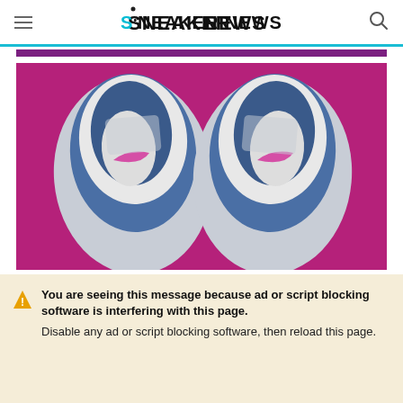SNEAKER NEWS
[Figure (photo): Top-down view of two Nike Air Jordan sneakers with blue and grey upper and magenta/pink Nike swoosh branding on insole, on a bright magenta/pink background]
You are seeing this message because ad or script blocking software is interfering with this page. Disable any ad or script blocking software, then reload this page.